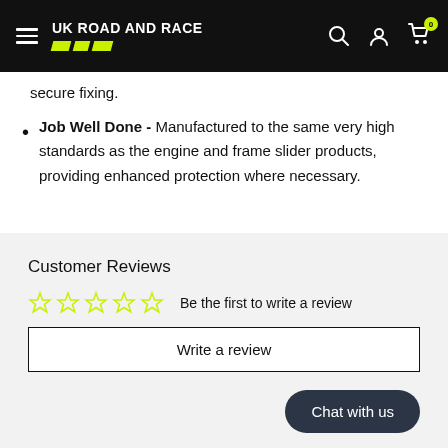UK ROAD AND RACE
secure fixing.
Job Well Done - Manufactured to the same very high standards as the engine and frame slider products, providing enhanced protection where necessary.
Customer Reviews
Be the first to write a review
Write a review
Chat with us